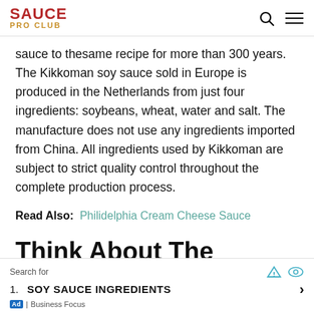SAUCE PRO CLUB
sauce to thesame recipe for more than 300 years. The Kikkoman soy sauce sold in Europe is produced in the Netherlands from just four ingredients: soybeans, wheat, water and salt. The manufacture does not use any ingredients imported from China. All ingredients used by Kikkoman are subject to strict quality control throughout the complete production process.
Read Also: Philidelphia Cream Cheese Sauce
Think About The Recipe And Consider Differences In Taste
Search for  1. SOY SAUCE INGREDIENTS  Ad | Business Focus